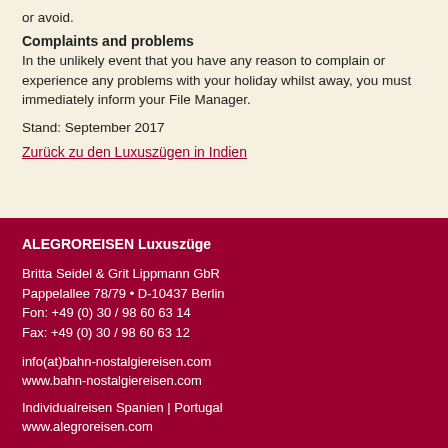or avoid.
Complaints and problems
In the unlikely event that you have any reason to complain or experience any problems with your holiday whilst away, you must immediately inform your File Manager.
Stand: September 2017
Zurück zu den Luxuszügen in Indien
ALEGROREISEN Luxuszüge
Britta Seidel & Grit Lippmann GbR
Pappelallee 78/79 • D-10437 Berlin
Fon: +49 (0) 30 / 98 60 63 14
Fax: +49 (0) 30 / 98 60 63 12
info(at)bahn-nostalgiereisen.com
www.bahn-nostalgiereisen.com
Individualreisen Spanien | Portugal
www.alegroreisen.com